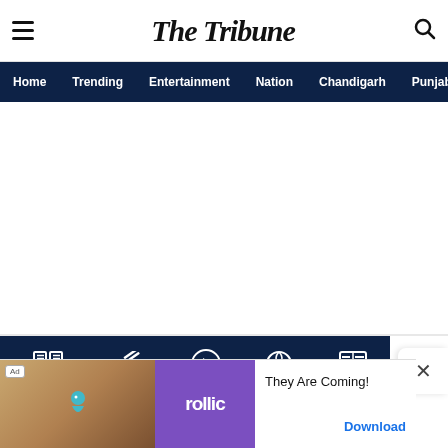The Tribune
Home | Trending | Entertainment | Nation | Chandigarh | Punjab
CLASSIFIEDS | OPINION | VIDEOS | SPORTS | EPAPER
[Figure (screenshot): Advertisement banner: rollic game app ad with 'They Are Coming!' tagline and Download button]